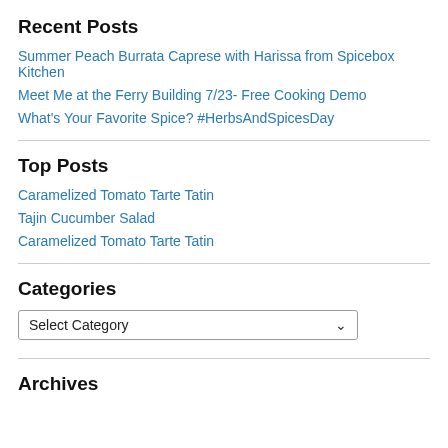Recent Posts
Summer Peach Burrata Caprese with Harissa from Spicebox Kitchen
Meet Me at the Ferry Building 7/23- Free Cooking Demo
What's Your Favorite Spice? #HerbsAndSpicesDay
Top Posts
Caramelized Tomato Tarte Tatin
Tajin Cucumber Salad
Caramelized Tomato Tarte Tatin
Categories
Select Category
Archives